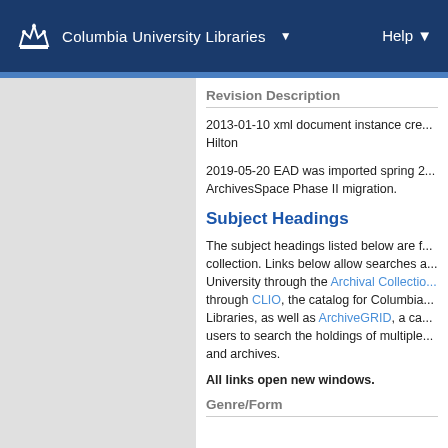Columbia University Libraries  ▼    Help ▼
Revision Description
2013-01-10 xml document instance cre... Hilton
2019-05-20 EAD was imported spring 2... ArchivesSpace Phase II migration.
Subject Headings
The subject headings listed below are f... collection. Links below allow searches a... University through the Archival Collectio... through CLIO, the catalog for Columbia... Libraries, as well as ArchiveGRID, a ca... users to search the holdings of multiple... and archives.
All links open new windows.
Genre/Form